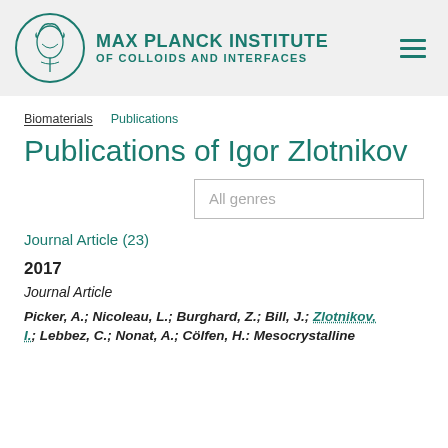MAX PLANCK INSTITUTE OF COLLOIDS AND INTERFACES
Biomaterials   Publications
Publications of Igor Zlotnikov
All genres
Journal Article (23)
2017
Journal Article
Picker, A.; Nicoleau, L.; Burghard, Z.; Bill, J.; Zlotnikov, I.; Lebbez, C.; Nonat, A.; Cölfen, H.: Mesocrystalline